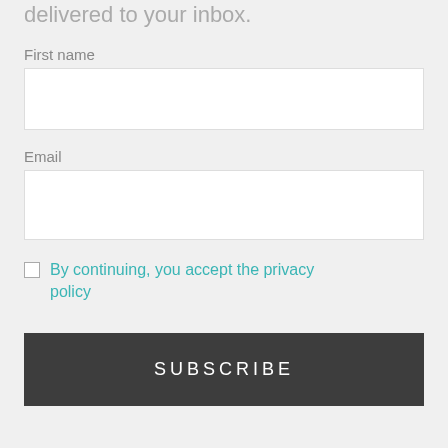delivered to your inbox.
First name
Email
By continuing, you accept the privacy policy
SUBSCRIBE